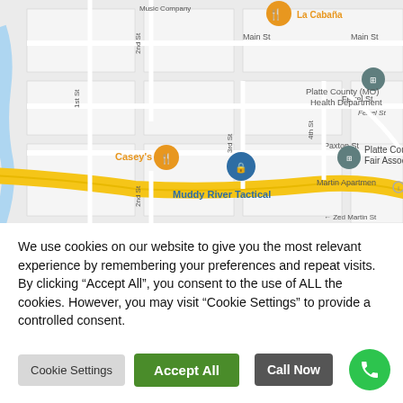[Figure (map): Google Maps screenshot showing a street map of Platte County area. Visible locations include La Cabaña restaurant, Platte County (MO) Health Department, Casey's, Muddy River Tactical, Platte County Fair Association, Martin Apartments. Streets visible: Main St, 1st St, 2nd St, 3rd St, 4th St, Ferrel St, Paxton St, Zed Martin St. A yellow highway curves through the lower portion of the map.]
We use cookies on our website to give you the most relevant experience by remembering your preferences and repeat visits. By clicking "Accept All", you consent to the use of ALL the cookies. However, you may visit "Cookie Settings" to provide a controlled consent.
Cookie Settings
Accept All
Call Now